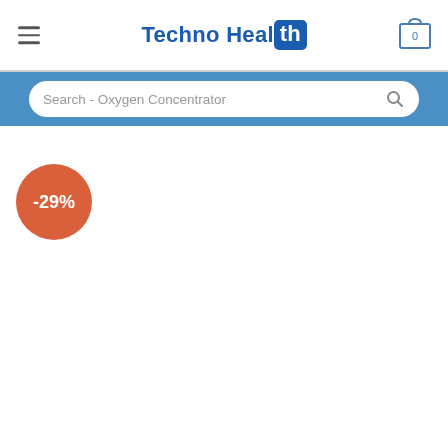Techno Health
Search - Oxygen Concentrator
-29%